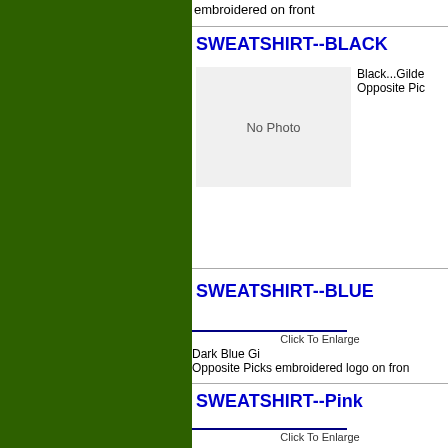embroidered on front
SWEATSHIRT--BLACK
[Figure (photo): No Photo placeholder box]
Black...Gilde Opposite Pic
SWEATSHIRT--BLUE
Click To Enlarge
Dark Blue Gi Opposite Picks embroidered logo on fron
SWEATSHIRT--Pink
Click To Enlarge